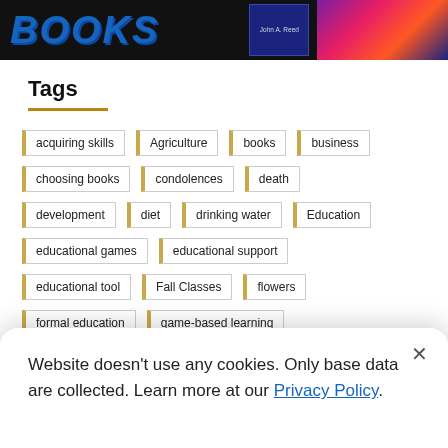[Figure (screenshot): Website banner with BOOKS logo in blue italic text on dark background, a book cover thumbnail, and a colorful abstract right panel]
Tags
acquiring skills
Agriculture
books
business
choosing books
condolences
death
development
diet
drinking water
Education
educational games
educational support
educational tool
Fall Classes
flowers
formal education
game-based learning
Website doesn't use any cookies. Only base data are collected. Learn more at our Privacy Policy.